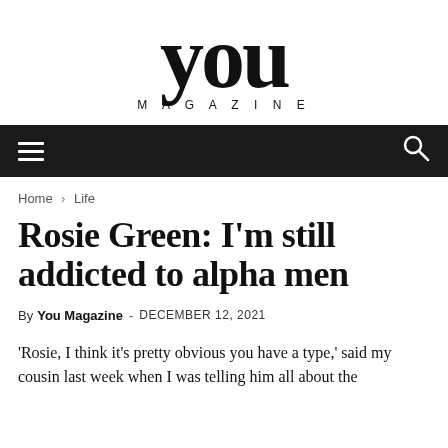YOU MAGAZINE
Rosie Green: I'm still addicted to alpha men
By You Magazine - DECEMBER 12, 2021
'Rosie, I think it's pretty obvious you have a type,' said my cousin last week when I was telling him all about the new (ish) top of mind addition to my career dit